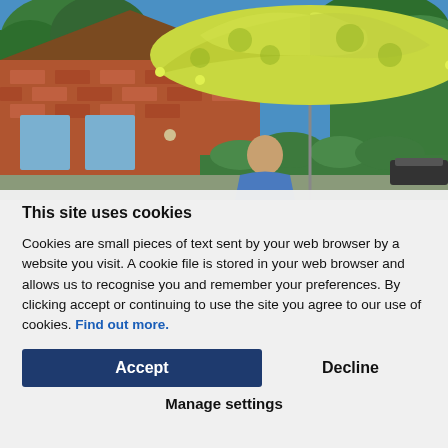[Figure (photo): Outdoor photo showing a yellow-green patterned garden umbrella/parasol open in a sunny backyard, with a brick house visible in the background, green trees and hedges, and a person in a blue shirt standing beneath the umbrella.]
This site uses cookies
Cookies are small pieces of text sent by your web browser by a website you visit. A cookie file is stored in your web browser and allows us to recognise you and remember your preferences. By clicking accept or continuing to use the site you agree to our use of cookies. Find out more.
Accept
Decline
Manage settings